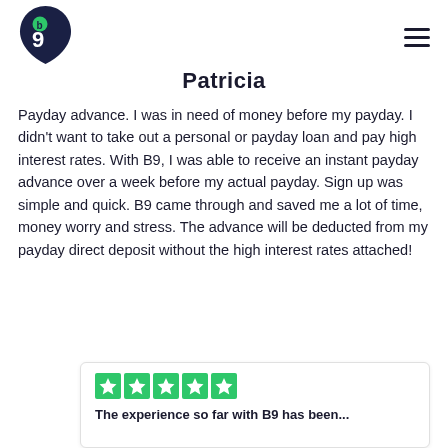[Figure (logo): B9 app logo — dark navy teardrop/pin shape with a green dot and letter b, and a large numeral 9]
Patricia
Payday advance. I was in need of money before my payday. I didn't want to take out a personal or payday loan and pay high interest rates. With B9, I was able to receive an instant payday advance over a week before my actual payday. Sign up was simple and quick. B9 came through and saved me a lot of time, money worry and stress. The advance will be deducted from my payday direct deposit without the high interest rates attached!
[Figure (other): Trustpilot-style green star rating card showing 5 green stars and the text 'The experience so far with B9 has been...']